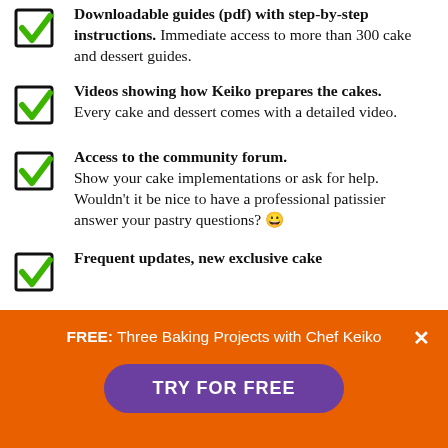Downloadable guides (pdf) with step-by-step instructions. Immediate access to more than 300 cake and dessert guides.
Videos showing how Keiko prepares the cakes. Every cake and dessert comes with a detailed video.
Access to the community forum. Show your cake implementations or ask for help. Wouldn't it be nice to have a professional patissier answer your pastry questions? 😀
Frequent updates, new exclusive cake
FREE: Three Baking Projects with Chef Keiko
TRY FOR FREE